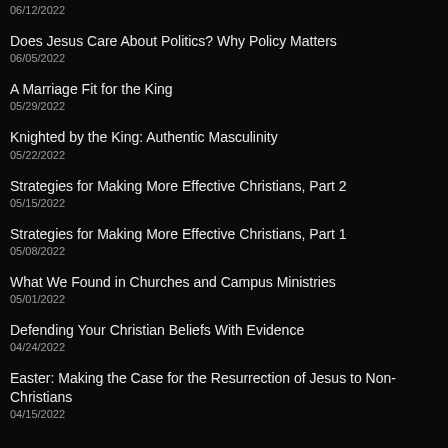06/12/2022
Does Jesus Care About Politics? Why Policy Matters
06/05/2022
A Marriage Fit for the King
05/29/2022
Knighted by the King: Authentic Masculinity
05/22/2022
Strategies for Making More Effective Christians, Part 2
05/15/2022
Strategies for Making More Effective Christians, Part 1
05/08/2022
What We Found in Churches and Campus Ministries
05/01/2022
Defending Your Christian Beliefs With Evidence
04/24/2022
Easter: Making the Case for the Resurrection of Jesus to Non-Christians
04/15/2022